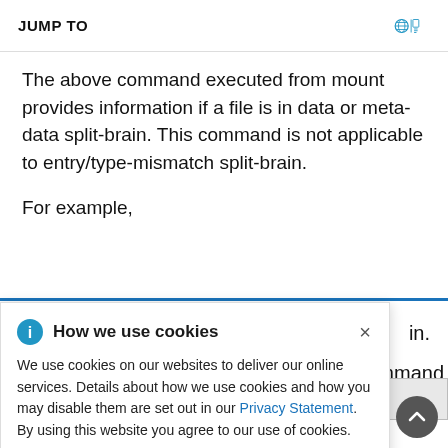JUMP TO
The above command executed from mount provides information if a file is in data or meta-data split-brain. This command is not applicable to entry/type-mismatch split-brain.
For example,
How we use cookies - We use cookies on our websites to deliver our online services. Details about how we use cookies and how you may disable them are set out in our Privacy Statement. By using this website you agree to our use of cookies.
replica.split-brain-status- data-split-bra